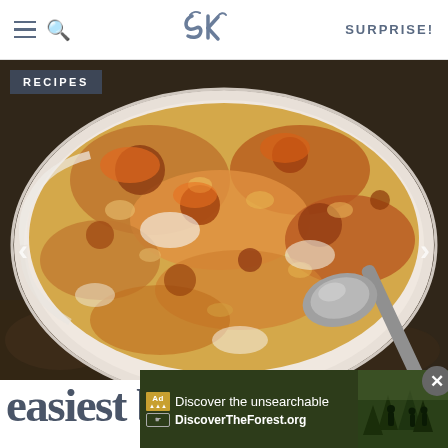SK | SURPRISE!
[Figure (photo): Close-up photo of a baked mac and cheese in a white ceramic pie dish with scalloped edges, golden-brown cheesy crust, with a large spoon scooping into it, on a dark baking sheet background. A 'RECIPES' badge appears in the top-left corner.]
easiest baked mac and
[Figure (screenshot): An advertisement overlay at the bottom of the page. Text reads 'Discover the unsearchable' with 'DiscoverTheForest.org' below it. An 'Ad' badge and a shield icon are visible on the left. A close button (X) is in the top right of the ad. A photo of hikers in a forest appears on the right side of the ad.]